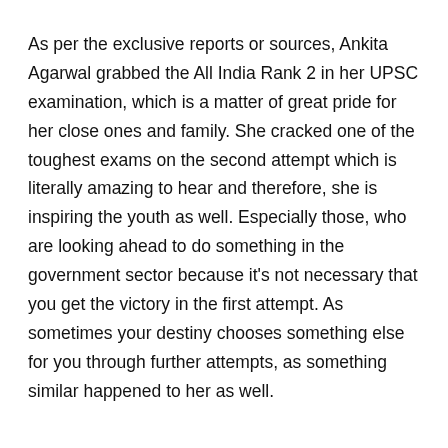As per the exclusive reports or sources, Ankita Agarwal grabbed the All India Rank 2 in her UPSC examination, which is a matter of great pride for her close ones and family. She cracked one of the toughest exams on the second attempt which is literally amazing to hear and therefore, she is inspiring the youth as well. Especially those, who are looking ahead to do something in the government sector because it's not necessary that you get the victory in the first attempt. As sometimes your destiny chooses something else for you through further attempts, as something similar happened to her as well.